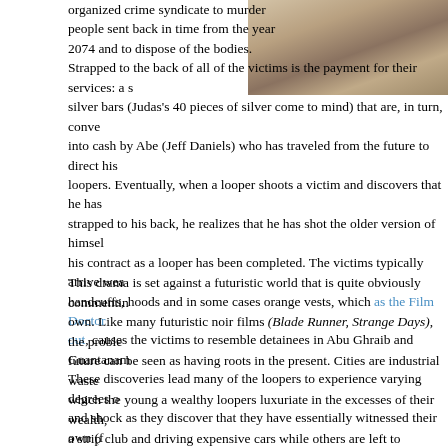[Figure (photo): A partially visible outdoor photo showing a person in a sandy or dry outdoor environment, cropped at top-right of page]
organized crime syndicate to murder people sent back in time from the year 2074 and to dispose of the bodies. Strapped to the back of all of the victims is the payment for their services: a s silver bars (Judas's 40 pieces of silver come to mind) that are, in turn, conve into cash by Abe (Jeff Daniels) who has traveled from the future to direct his loopers. Eventually, when a looper shoots a victim and discovers that he has strapped to his back, he realizes that he has shot the older version of himsel his contract as a looper has been completed. The victims typically arrive wea handcuffs, hoods and in some cases orange vests, which as the Film Doctor out, causes the victims to resemble detainees in Abu Ghraib and Guantanam These discoveries lead many of the loopers to experience varying degrees o and shock as they discover that they have essentially witnessed their own (f death. The twist in young Joe's case is that when old Joe (Bruce Willis) arriv wearing the hood and young Joe recognizes himself, hesitates, and eventua unable to pull the trigger, allowing him to confront the older man he becomes
This drama is set against a futuristic world that is quite obviously commentin own. Like many futuristic noir films (Blade Runner, Strange Days), the proble future can be seen as having roots in the present. Cities are industrial waste which the young a wealthy loopers luxuriate in the excesses of their wealth, a strip club and driving expensive cars while others are left to dystopian city to survive off the land like Sarah and her son. It's as if we are hurtling back i in which basic survival appears to be our only option At the same time, the fi to revel in its cinematic allusions–cream swirling into a cup of coffee recalls